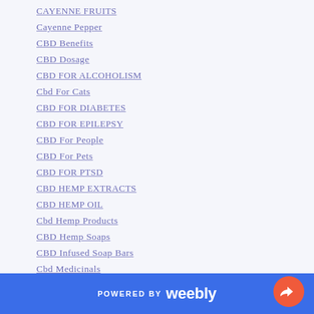CAYENNE FRUITS
Cayenne Pepper
CBD Benefits
CBD Dosage
CBD FOR ALCOHOLISM
Cbd For Cats
CBD FOR DIABETES
CBD FOR EPILEPSY
CBD For People
CBD For Pets
CBD FOR PTSD
CBD HEMP EXTRACTS
CBD HEMP OIL
Cbd Hemp Products
CBD Hemp Soaps
CBD Infused Soap Bars
Cbd Medicinals
POWERED BY weebly